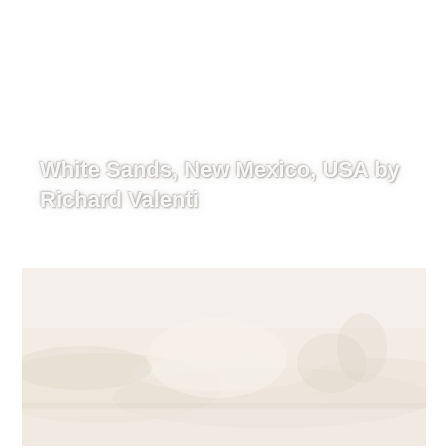White Sands, New Mexico, USA by Richard Valenti
[Figure (photo): A very faded/washed-out photograph of White Sands, New Mexico desert landscape with sand dunes, appearing nearly white with very light tan and beige tones.]